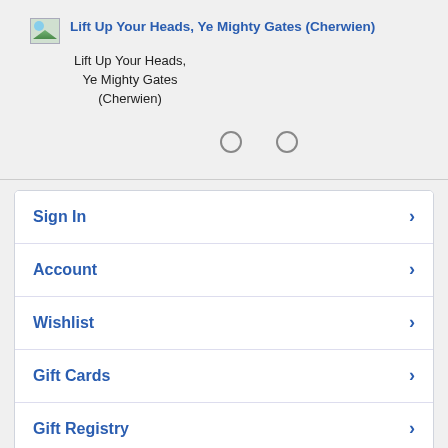[Figure (other): Product image thumbnail for Lift Up Your Heads, Ye Mighty Gates (Cherwien) with link text]
Lift Up Your Heads, Ye Mighty Gates (Cherwien)
Lift Up Your Heads, Ye Mighty Gates (Cherwien)
[Figure (other): Two carousel dot indicators (unselected circles)]
Sign In
Account
Wishlist
Gift Cards
Gift Registry
Concordia Gospel Outreach